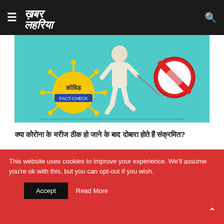≡  खबर लहरिया  🔍
[Figure (illustration): Illustration for COVID fact-check article showing a person in white hazmat suit walking with a stick that has a COVID virus on it, and a prohibition sign on the right. Text on virus: कोविड FACT-CHECK. Teal/turquoise background.]
कोरोना के मरीज ठीक हो जाने के बाद क्या दोबारा होते हैं संक्रमित?
COVID-19 के मरीज के ठीक हो जाने के बाद दोबारा संक्रमण के मामलों में वृद्धि हुई है तो लोगों के मन में एक सवाल उठा है कि क्या Covid-19 से
This website uses cookies to improve your experience. We'll assume you're ok with this, but you can opt-out if you wish.